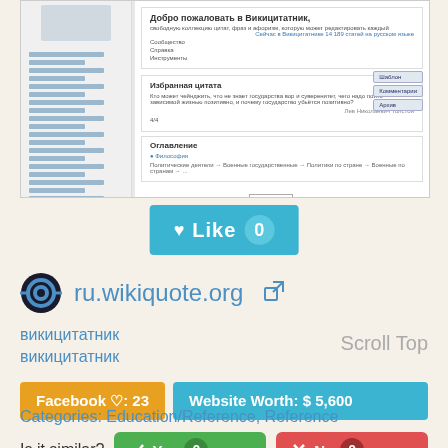[Figure (screenshot): Screenshot of ru.wikiquote.org (Wikiquote in Russian), showing the main page with sidebar navigation, welcome banner, featured quote section, and table of contents.]
[Figure (other): Teal 'Like 0' button with heart icon]
ru.wikiquote.org
викицитатник
викицитатник
Scroll Top
Facebook ♡: 23
Website Worth: $ 5,600
Categories: Education/Reference, Reference
Is it similar?
[Figure (other): Green 'Yes 0' button and red 'No 0' button for similarity voting]